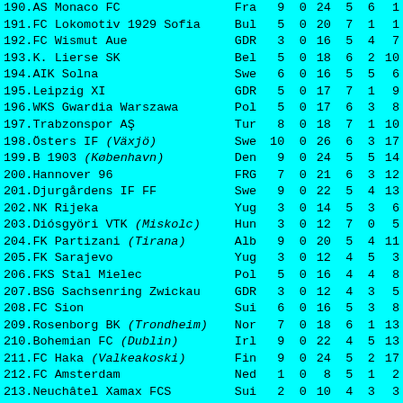| # | Club | Nat | col1 | col2 | col3 | col4 | col5 | col6 |
| --- | --- | --- | --- | --- | --- | --- | --- | --- |
| 190 | AS Monaco FC | Fra | 9 | 0 | 24 | 5 | 6 | 1 |
| 191 | FC Lokomotiv 1929 Sofia | Bul | 5 | 0 | 20 | 7 | 1 | 1 |
| 192 | FC Wismut Aue | GDR | 3 | 0 | 16 | 5 | 4 | 7 |
| 193 | K. Lierse SK | Bel | 5 | 0 | 18 | 6 | 2 | 10 |
| 194 | AIK Solna | Swe | 6 | 0 | 16 | 5 | 5 | 6 |
| 195 | Leipzig XI | GDR | 5 | 0 | 17 | 7 | 1 | 9 |
| 196 | WKS Gwardia Warszawa | Pol | 5 | 0 | 17 | 6 | 3 | 8 |
| 197 | Trabzonspor AŞ | Tur | 8 | 0 | 18 | 7 | 1 | 10 |
| 198 | Östers IF (Växjö) | Swe | 10 | 0 | 26 | 6 | 3 | 17 |
| 199 | B 1903 (København) | Den | 9 | 0 | 24 | 5 | 5 | 14 |
| 200 | Hannover 96 | FRG | 7 | 0 | 21 | 6 | 3 | 12 |
| 201 | Djurgårdens IF FF | Swe | 9 | 0 | 22 | 5 | 4 | 13 |
| 202 | NK Rijeka | Yug | 3 | 0 | 14 | 5 | 3 | 6 |
| 203 | Diósgyöri VTK (Miskolc) | Hun | 3 | 0 | 12 | 7 | 0 | 5 |
| 204 | FK Partizani (Tirana) | Alb | 9 | 0 | 20 | 5 | 4 | 11 |
| 205 | FK Sarajevo | Yug | 3 | 0 | 12 | 4 | 5 | 3 |
| 206 | FKS Stal Mielec | Pol | 5 | 0 | 16 | 4 | 4 | 8 |
| 207 | BSG Sachsenring Zwickau | GDR | 3 | 0 | 12 | 4 | 3 | 5 |
| 208 | FC Sion | Sui | 6 | 0 | 16 | 5 | 3 | 8 |
| 209 | Rosenborg BK (Trondheim) | Nor | 7 | 0 | 18 | 6 | 1 | 13 |
| 210 | Bohemian FC (Dublin) | Irl | 9 | 0 | 22 | 4 | 5 | 13 |
| 211 | FC Haka (Valkeakoski) | Fin | 9 | 0 | 24 | 5 | 2 | 17 |
| 212 | FC Amsterdam | Ned | 1 | 0 | 8 | 5 | 1 | 2 |
| 213 | Neuchâtel Xamax FCS | Sui | 2 | 0 | 10 | 4 | 3 | 3 |
| 214 | Randers Freja FC | Den | 4 | 0 | 12 | 4 | 3 | 5 |
| 215 | FC Lokomotiva Košice | Tch | 3 | 0 | 10 | 4 | 4 | 2 |
| 216 | R. Union Saint-Gilloise | Bel | 5 | 0 | 17 | 4 | 2 | 12 |
| 217 | DOS Utrecht | Ned | 7 | 0 | 18 | 4 | 4 | 10 |
| 218 | Viking FK (Stavanger) | Nor | 9 | 0 | 22 | 4 | 4 | 12 |
| 219 | APOEL FC (Nicosia) | Cyp | 12 | 0 | 28 | 4 | 2 | 20 |